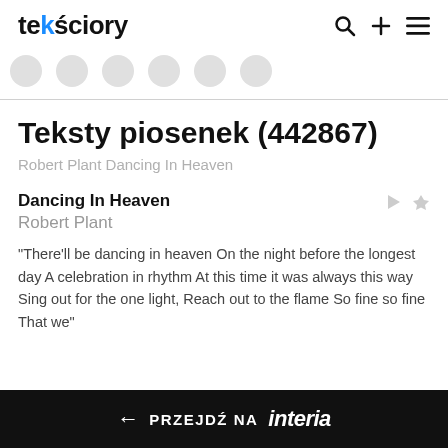teksciory
[Figure (other): Row of circular avatar/icon placeholders in gray]
Teksty piosenek (442867)
Robert Plant Dancing In Heaven
Dancing In Heaven
Robert Plant
"There'll be dancing in heaven On the night before the longest day A celebration in rhythm At this time it was always this way Sing out for the one light, Reach out to the flame So fine so fine That we"
← PRZEJDŹ NA interia